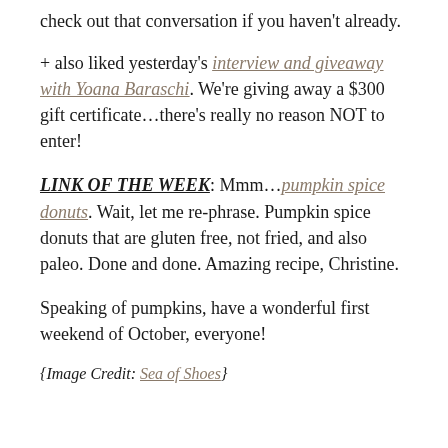check out that conversation if you haven’t already.
+ also liked yesterday’s interview and giveaway with Yoana Baraschi. We’re giving away a $300 gift certificate…there’s really no reason NOT to enter!
LINK OF THE WEEK: Mmm…pumpkin spice donuts. Wait, let me re-phrase. Pumpkin spice donuts that are gluten free, not fried, and also paleo. Done and done. Amazing recipe, Christine.
Speaking of pumpkins, have a wonderful first weekend of October, everyone!
{Image Credit: Sea of Shoes}